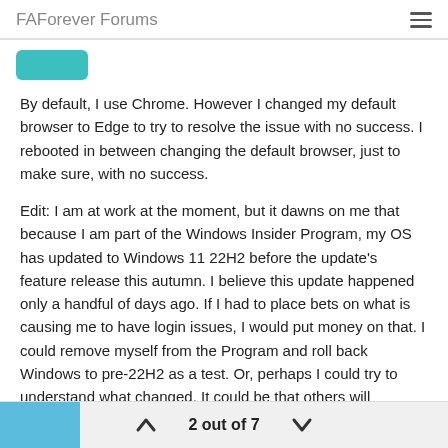FAForever Forums
By default, I use Chrome. However I changed my default browser to Edge to try to resolve the issue with no success. I rebooted in between changing the default browser, just to make sure, with no success.
Edit: I am at work at the moment, but it dawns on me that because I am part of the Windows Insider Program, my OS has updated to Windows 11 22H2 before the update's feature release this autumn. I believe this update happened only a handful of days ago. If I had to place bets on what is causing me to have login issues, I would put money on that. I could remove myself from the Program and roll back Windows to pre-22H2 as a test. Or, perhaps I could try to understand what changed. It could be that others will experience this problem when the update rolls out later this year so maybe I can give the dev team a leg up on incoming issues.
2 out of 7